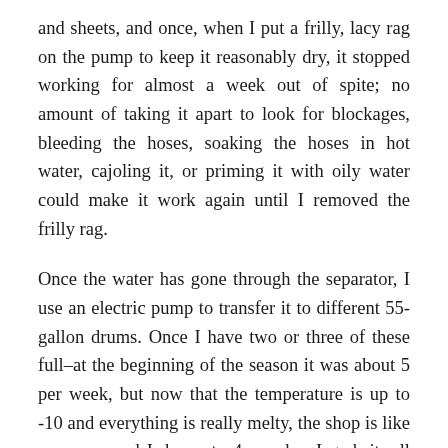and sheets, and once, when I put a frilly, lacy rag on the pump to keep it reasonably dry, it stopped working for almost a week out of spite; no amount of taking it apart to look for blockages, bleeding the hoses, soaking the hoses in hot water, cajoling it, or priming it with oily water could make it work again until I removed the frilly rag.
Once the water has gone through the separator, I use an electric pump to transfer it to different 55-gallon drums. Once I have two or three of these full–at the beginning of the season it was about 5 per week, but now that the temperature is up to -10 and everything is really melty, the shop is like a swamp and I do up to 4 per day–I grab it, all 440 or so pounds of it with a dolly, throw my whole weight on it, and take it for a walk. The wastewater input is through a subterranean (sub-ice-ean?) hallway that